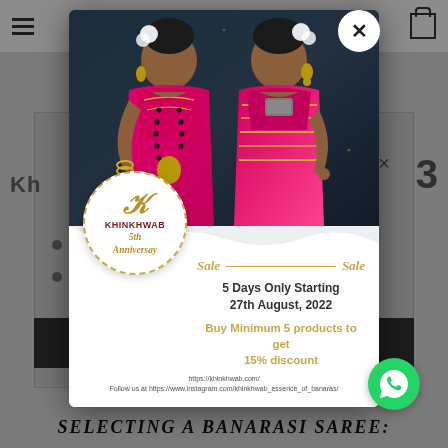[Figure (screenshot): Background webpage of Khinkhwab website showing header with hamburger menu, cart icon, and website name, with a content area showing partial text 'Kh...tes' heading, bullet points, dark button, and bottom text 'SELECTING A BANARASI SAREE:']
[Figure (photo): Modal popup showing two Indian women in bright fuchsia/pink Banarasi sarees with gold jewelry, white flowers in hair, on dark teal background]
KHINKHWAB
5th Anniversay
5 Days Only Starting 27th August, 2022
Buy Minimum 5 products to get 15% discount
Sale
Sale
https://khinkhwab.com/
Follow us at https://www.instagram.com/khinkhwab_essence_of_banaras/
SELECTING A BANARASI SAREE: